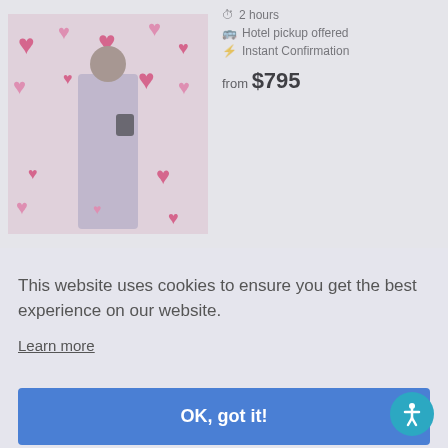[Figure (photo): Woman posing in front of a pink hearts wall background]
2 hours
Hotel pickup offered
Instant Confirmation
from $795
[Figure (photo): Classic building entrance with arch and lantern, classic Cadillac car visible]
Classic Cadillac 3 Hour Tour with Elvis
3 hours
Hotel pickup offered
Instant Confirmation
[Figure (photo): Partial view of another listing thumbnail]
Instant Confirmation
This website uses cookies to ensure you get the best experience on our website.
Learn more
OK, got it!